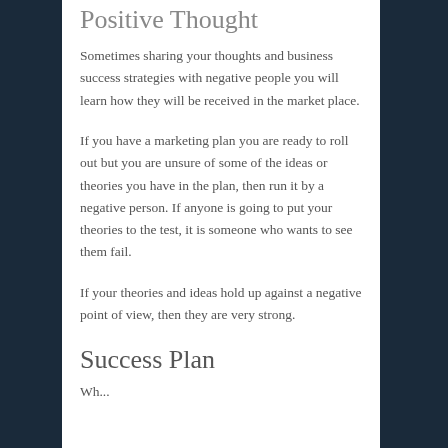Positive Thought
Sometimes sharing your thoughts and business success strategies with negative people you will learn how they will be received in the market place.
If you have a marketing plan you are ready to roll out but you are unsure of some of the ideas or theories you have in the plan, then run it by a negative person. If anyone is going to put your theories to the test, it is someone who wants to see them fail.
If your theories and ideas hold up against a negative point of view, then they are very strong.
Success Plan
Wh...